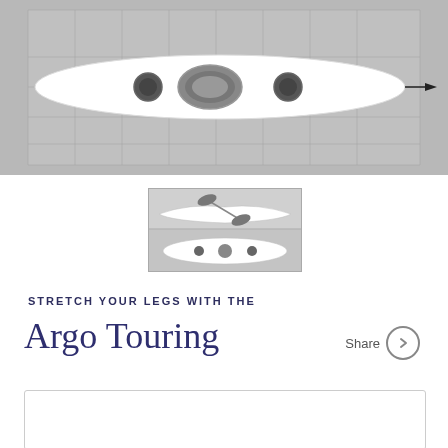[Figure (engineering-diagram): Top-down view of Argo Touring kayak on a grid background, white kayak with circular hatches and seat area, arrow pointing right at bow]
[Figure (engineering-diagram): Small thumbnail showing side profile and top view of Argo Touring kayak]
STRETCH YOUR LEGS WITH THE
Argo Touring
Share
| Technical Specification |
| --- |
| Length |